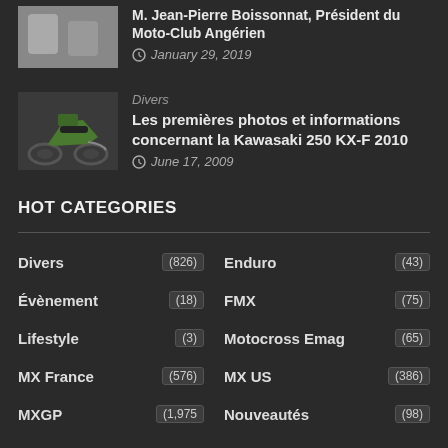[Figure (photo): Thumbnail image of two people shaking hands, partially visible at top]
M. Jean-Pierre Boissonnat, Président du Moto-Club Angérien
January 29, 2019
[Figure (photo): Green Kawasaki 250 KX-F 2010 dirt bike on white background]
Divers
Les premières photos et informations concernant la Kawasaki 250 KX-F 2010
June 17, 2009
HOT CATEGORIES
Divers (826)
Enduro (43)
Évènement (18)
FMX (75)
Lifestyle (3)
Motocross Emag (65)
MX France (576)
MX US (386)
MXGP (1,975)
Nouveautés (98)